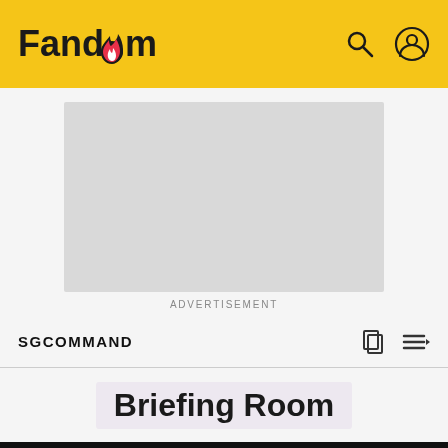Fandom
[Figure (screenshot): Advertisement placeholder - grey rectangle]
ADVERTISEMENT
SGCOMMAND
Briefing Room
The Sandman Will Keep You Awake…